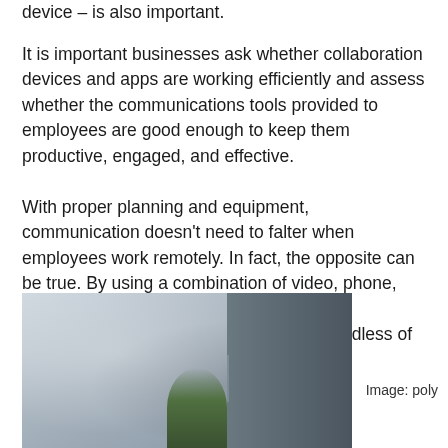device – is also important.
It is important businesses ask whether collaboration devices and apps are working efficiently and assess whether the communications tools provided to employees are good enough to keep them productive, engaged, and effective.
With proper planning and equipment, communication doesn't need to falter when employees work remotely. In fact, the opposite can be true. By using a combination of video, phone, email and chat, internal and external communication can be just as robust regardless of the location of a team.
[Figure (photo): Office environment photo showing a blurred background with a plant and dark panel divider]
Image: poly